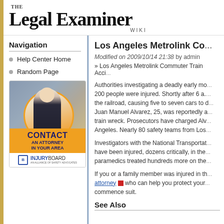THE Legal Examiner WIKI
Navigation
Help Center Home
Random Page
[Figure (illustration): CONTACT AN ATTORNEY IN YOUR AREA - InjuryBoard advertisement with photo of smiling businesswoman]
Los Angeles Metrolink Co...
Modified on 2009/10/14 21:38 by admin
» Los Angeles Metrolink Commuter Train Acci...
Authorities investigating a deadly early mo... 200 people were injured. Shortly after 6 a.... the railroad, causing five to seven cars to d... Juan Manuel Alvarez, 25, was reportedly a... train wreck. Prosecutors have charged Alv... Angeles. Nearly 80 safety teams from Los...
Investigators with the National Transportat... have been injured, dozens critically, in the... paramedics treated hundreds more on the...
If you or a family member was injured in th... attorney who can help you protect your... commence suit.
See Also